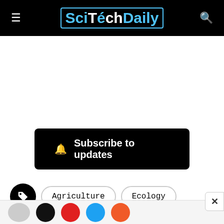SciTechDaily
Subscribe to updates
Agriculture
Ecology
Environment
Food Science
Genetics
Zoological Society of London